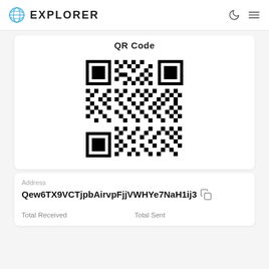EXPLORER
QR Code
[Figure (other): QR code for blockchain wallet address Qew6TX9VCTjpbAirvpFjjVWHYe7NaH1ij3]
Address
Qew6TX9VCTjpbAirvpFjjVWHYe7NaH1ij3
Total Received
Total Sent